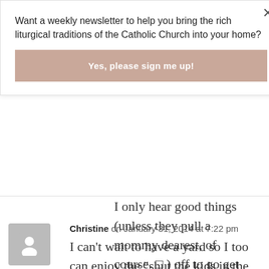Want a weekly newsletter to help you bring the rich liturgical traditions of the Catholic Church into your home?
Yes, please sign me up!
I only hear good things (unless they pull a mommy dearest, of course. □ ) off to go get rid of more toys!
Log in to Reply
Christine on January 31, 2014 at 7:22 pm
I can't wait to have a yard so I too can enjoy the "shut the kids in the